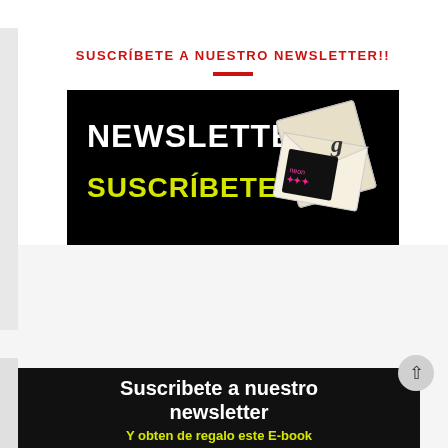SUSCRÍBETE A NUESTRO NEWSLETTER!!
[Figure (illustration): Black background banner image with white bold text 'NEWSLETTER' and yellow/green text 'SUSCRÍBETE', plus an envelope with a photo/postcard graphic on the right side.]
[Figure (illustration): Black background banner with large white bold text 'Suscribete a nuestro newsletter' and yellow text 'Y obten de regalo este E-book'. A circular back-to-top arrow button overlays the top-right corner.]